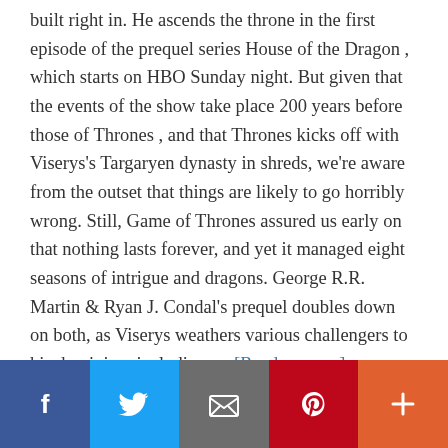built right in. He ascends the throne in the first episode of the prequel series House of the Dragon , which starts on HBO Sunday night. But given that the events of the show take place 200 years before those of Thrones , and that Thrones kicks off with Viserys's Targaryen dynasty in shreds, we're aware from the outset that things are likely to go horribly wrong. Still, Game of Thrones assured us early on that nothing lasts forever, and yet it managed eight seasons of intrigue and dragons. George R.R. Martin & Ryan J. Condal's prequel doubles down on both, as Viserys weathers various challengers to his dominion, including … [Read more…]
[Figure (infographic): Social sharing bar with five buttons: Facebook (blue), Twitter (light blue), Email (grey), Pinterest (red), More/Plus (orange-red)]